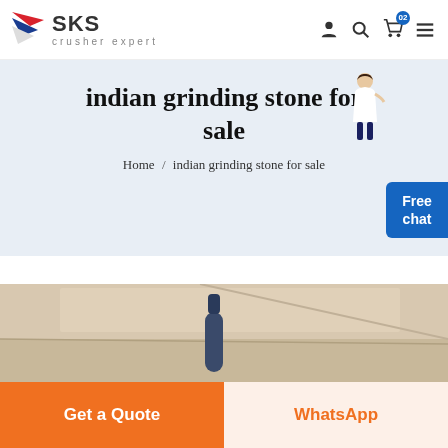SKS crusher expert
indian grinding stone for sale
Home / indian grinding stone for sale
[Figure (photo): Partially visible industrial machinery or grinding equipment photo]
Get a Quote
WhatsApp